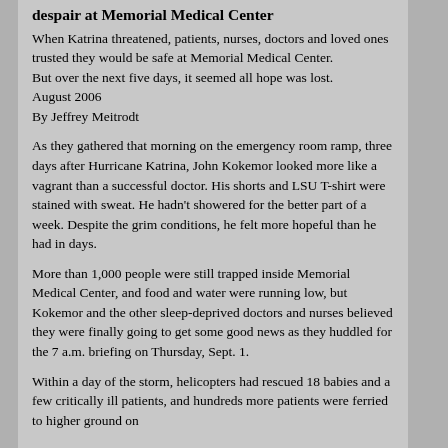despair at Memorial Medical Center
When Katrina threatened, patients, nurses, doctors and loved ones trusted they would be safe at Memorial Medical Center.
But over the next five days, it seemed all hope was lost.
August 2006
By Jeffrey Meitrodt
As they gathered that morning on the emergency room ramp, three days after Hurricane Katrina, John Kokemor looked more like a vagrant than a successful doctor. His shorts and LSU T-shirt were stained with sweat. He hadn't showered for the better part of a week. Despite the grim conditions, he felt more hopeful than he had in days.
More than 1,000 people were still trapped inside Memorial Medical Center, and food and water were running low, but Kokemor and the other sleep-deprived doctors and nurses believed they were finally going to get some good news as they huddled for the 7 a.m. briefing on Thursday, Sept. 1.
Within a day of the storm, helicopters had rescued 18 babies and a few critically ill patients, and hundreds more patients were ferried to higher ground on